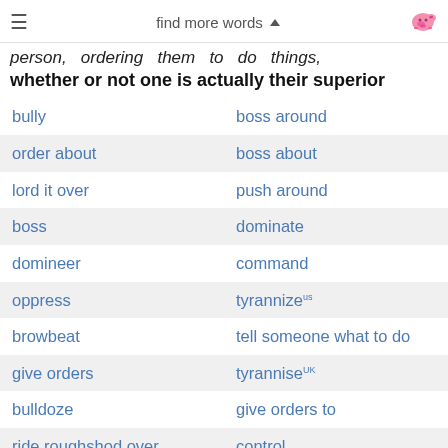find more words ▲
person, ordering them to do things, whether or not one is actually their superior
| bully | boss around |
| order about | boss about |
| lord it over | push around |
| boss | dominate |
| domineer | command |
| oppress | tyrannizeᵘˢ |
| browbeat | tell someone what to do |
| give orders | tyranniseᵁᴷ |
| bulldoze | give orders to |
| ride roughshod over | control |
| pressurizeᵘˢ | have under one's thumb |